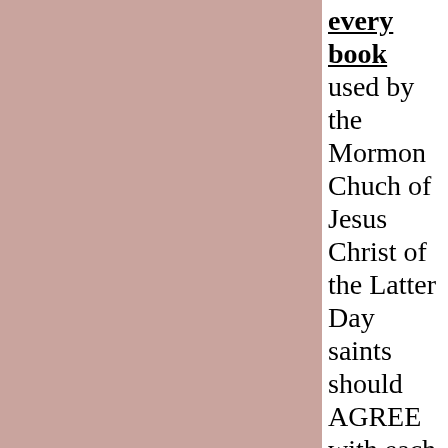[Figure (other): Left portion of page filled with a solid dusty rose / mauve color (#c9a49e)]
every book used by the Mormon Chuch of Jesus Christ of the Latter Day saints should AGREE with each other on every point having NO CONTRADI